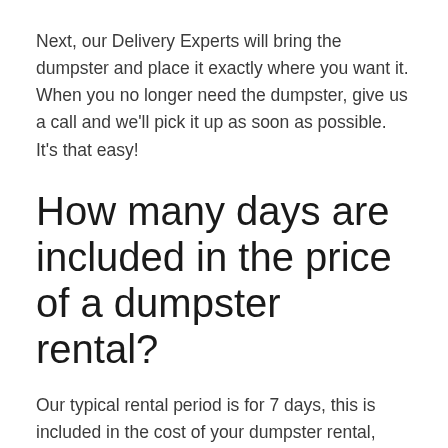Next, our Delivery Experts will bring the dumpster and place it exactly where you want it. When you no longer need the dumpster, give us a call and we'll pick it up as soon as possible. It's that easy!
How many days are included in the price of a dumpster rental?
Our typical rental period is for 7 days, this is included in the cost of your dumpster rental, which provides you ample time to complete your waste disposal project and de-clutter and clear your whole house from top to bottom. If you finish well before the week is done, just give us a call and we will pick up the dumpster in 24 hours or less! We also deliver dumpsters in 24 hours or less, so if it is a project that is last minute or one that is planned out, give us a call to talk to one of our Dumpster